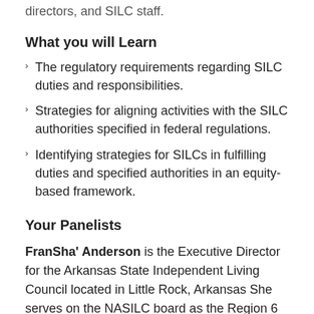directors, and SILC staff.
What you will Learn
The regulatory requirements regarding SILC duties and responsibilities.
Strategies for aligning activities with the SILC authorities specified in federal regulations.
Identifying strategies for SILCs in fulfilling duties and specified authorities in an equity-based framework.
Your Panelists
FranSha' Anderson is the Executive Director for the Arkansas State Independent Living Council located in Little Rock, Arkansas She serves on the NASILC board as the Region 6 Rep. as well as the NCIL